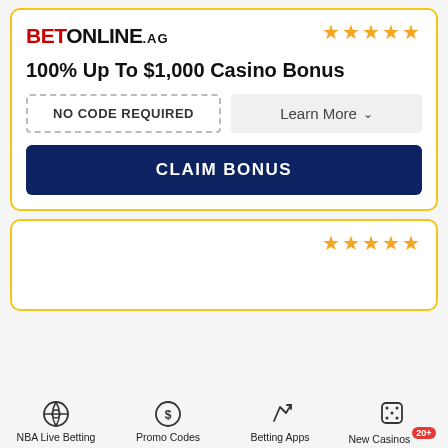[Figure (infographic): BetOnline.ag casino bonus card with 4.5 star rating, 100% Up To $1,000 Casino Bonus offer, NO CODE REQUIRED dashed box, Learn More dropdown, and CLAIM BONUS button]
[Figure (infographic): Second casino card with 4.5 star rating, partially visible]
NBA Live Betting
Promo Codes
Betting Apps
New Casinos